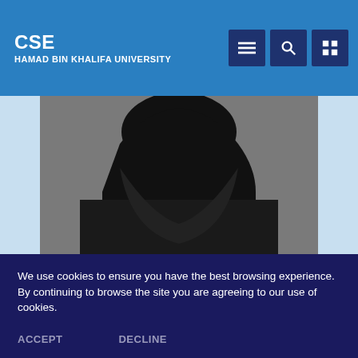CSE HAMAD BIN KHALIFA UNIVERSITY
[Figure (photo): Portrait photo of a woman wearing a black hijab and black outfit, smiling, against a grey background. The photo is partially visible showing face and upper torso.]
We use cookies to ensure you have the best browsing experience. By continuing to browse the site you are agreeing to our use of cookies. No, give me more info
ACCEPT   DECLINE